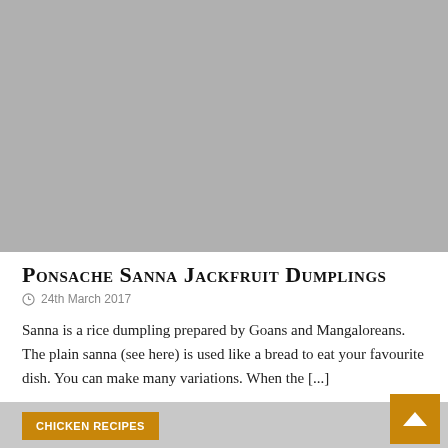[Figure (photo): Gray placeholder image for Ponsache Sanna Jackfruit Dumplings recipe]
Ponsache Sanna Jackfruit Dumplings
24th March 2017
Sanna is a rice dumpling prepared by Goans and Mangaloreans. The plain sanna (see here) is used like a bread to eat your favourite dish. You can make many variations. When the [...]
CHICKEN RECIPES